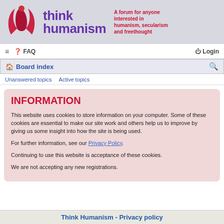[Figure (logo): Think Humanism logo with red flame figure and purple text, tagline in red]
≡  FAQ    Login
Board index  🔍
Unanswered topics   Active topics
INFORMATION
This website uses cookies to store information on your computer. Some of these cookies are essential to make our site work and others help us to improve by giving us some insight into how the site is being used.
For further information, see our Privacy Policy.
Continuing to use this website is acceptance of these cookies.
We are not accepting any new registrations.
Think Humanism - Privacy policy